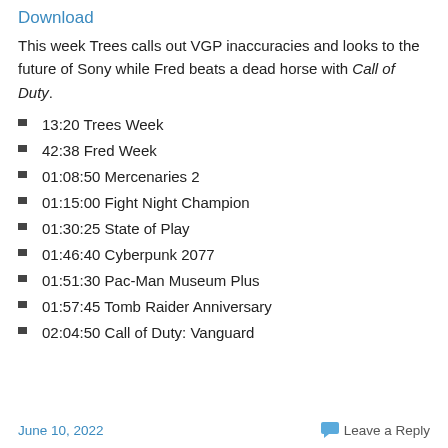Download
This week Trees calls out VGP inaccuracies and looks to the future of Sony while Fred beats a dead horse with Call of Duty.
13:20 Trees Week
42:38 Fred Week
01:08:50 Mercenaries 2
01:15:00 Fight Night Champion
01:30:25 State of Play
01:46:40 Cyberpunk 2077
01:51:30 Pac-Man Museum Plus
01:57:45 Tomb Raider Anniversary
02:04:50 Call of Duty: Vanguard
June 10, 2022    Leave a Reply